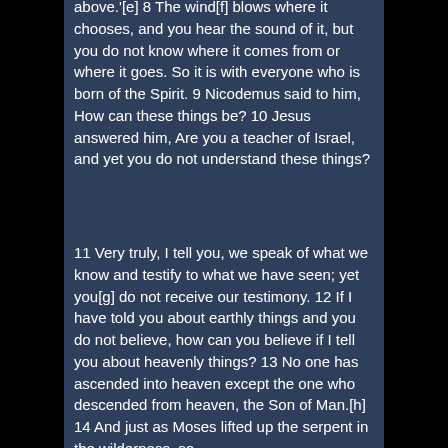above.'[e] 8 The wind[f] blows where it chooses, and you hear the sound of it, but you do not know where it comes from or where it goes. So it is with everyone who is born of the Spirit. 9 Nicodemus said to him, How can these things be? 10 Jesus answered him, Are you a teacher of Israel, and yet you do not understand these things?
11 Very truly, I tell you, we speak of what we know and testify to what we have seen; yet you[g] do not receive our testimony. 12 If I have told you about earthly things and you do not believe, how can you believe if I tell you about heavenly things? 13 No one has ascended into heaven except the one who descended from heaven, the Son of Man.[h] 14 And just as Moses lifted up the serpent in the wilderness, so